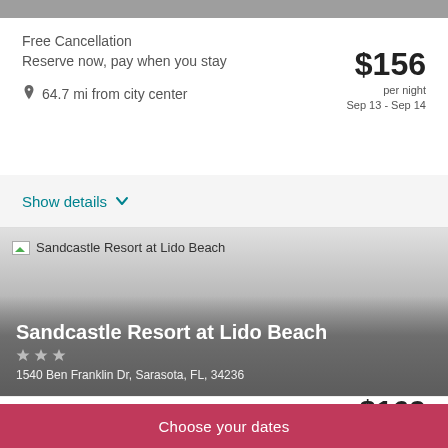Free Cancellation
Reserve now, pay when you stay
64.7 mi from city center
$156 per night Sep 13 - Sep 14
Show details
[Figure (photo): Hotel photo placeholder for Sandcastle Resort at Lido Beach]
Sandcastle Resort at Lido Beach
1540 Ben Franklin Dr, Sarasota, FL, 34236
Free Cancellation
Reserve now, pay when you stay
$169 per night
Choose your dates